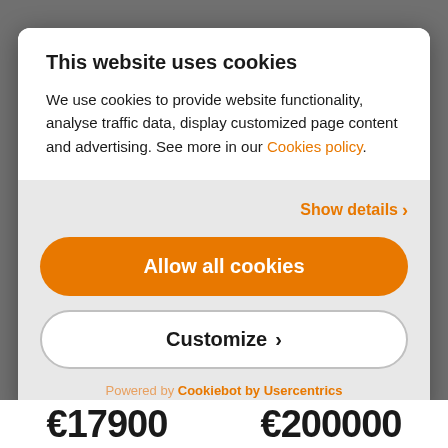This website uses cookies
We use cookies to provide website functionality, analyse traffic data, display customized page content and advertising. See more in our Cookies policy.
Show details ›
Allow all cookies
Customize ›
Powered by Cookiebot by Usercentrics
€17900  €200000